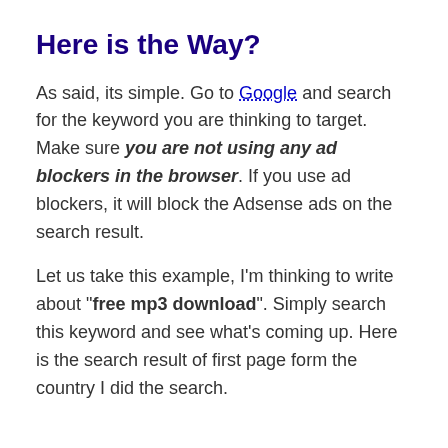Here is the Way?
As said, its simple. Go to Google and search for the keyword you are thinking to target. Make sure you are not using any ad blockers in the browser. If you use ad blockers, it will block the Adsense ads on the search result.
Let us take this example, I'm thinking to write about "free mp3 download". Simply search this keyword and see what's coming up. Here is the search result of first page form the country I did the search.